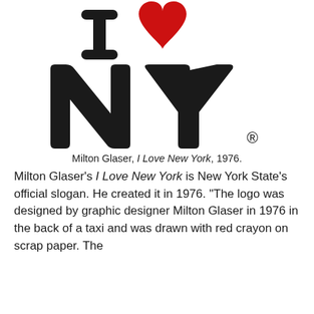[Figure (logo): I Love New York logo: large block letter I, red heart, large block letters NY with registered trademark symbol]
Milton Glaser, I Love New York, 1976.
Milton Glaser's I Love New York is New York State's official slogan. He created it in 1976. “The logo was designed by graphic designer Milton Glaser in 1976 in the back of a taxi and was drawn with red crayon on scrap paper. The